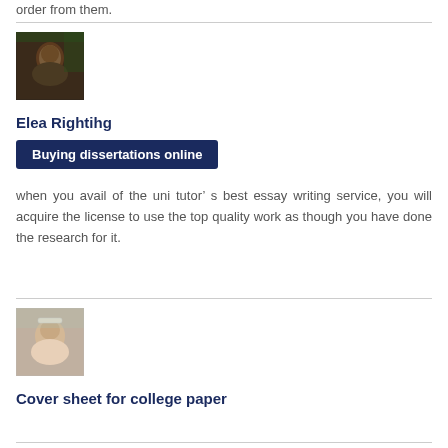order from them.
[Figure (photo): Profile photo of a woman with dark hair against a green leafy background]
Elea Rightihg
Buying dissertations online
when you avail of the uni tutor’s best essay writing service, you will acquire the license to use the top quality work as though you have done the research for it.
[Figure (photo): Profile photo of a smiling woman wearing a tiara/headband]
Cover sheet for college paper